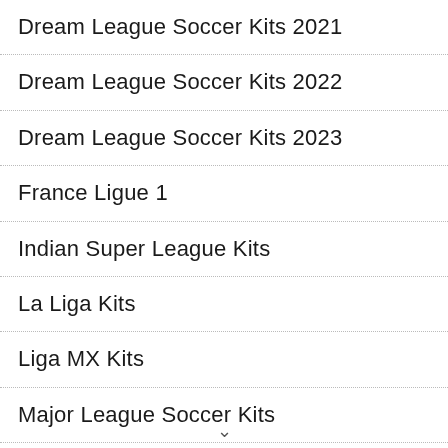Dream League Soccer Kits 2021
Dream League Soccer Kits 2022
Dream League Soccer Kits 2023
France Ligue 1
Indian Super League Kits
La Liga Kits
Liga MX Kits
Major League Soccer Kits
National Team Kits